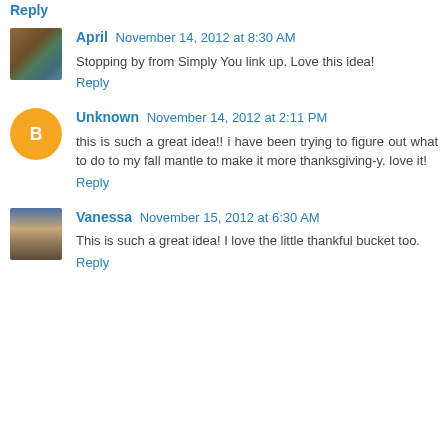Reply
April  November 14, 2012 at 8:30 AM
Stopping by from Simply You link up. Love this idea!
Reply
Unknown  November 14, 2012 at 2:11 PM
this is such a great idea!! i have been trying to figure out what to do to my fall mantle to make it more thanksgiving-y. love it!
Reply
Vanessa  November 15, 2012 at 6:30 AM
This is such a great idea! I love the little thankful bucket too.
Reply